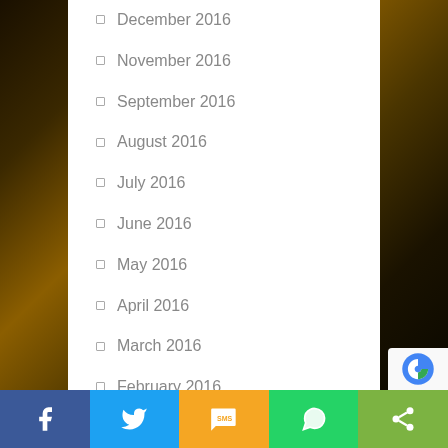December 2016
November 2016
September 2016
August 2016
July 2016
June 2016
May 2016
April 2016
March 2016
February 2016
January 2016